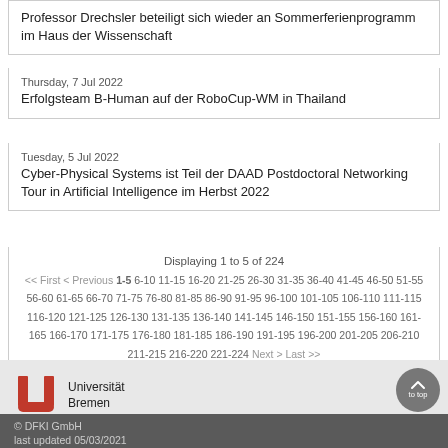Professor Drechsler beteiligt sich wieder an Sommerferienprogramm im Haus der Wissenschaft
Thursday, 7 Jul 2022
Erfolgsteam B-Human auf der RoboCup-WM in Thailand
Tuesday, 5 Jul 2022
Cyber-Physical Systems ist Teil der DAAD Postdoctoral Networking Tour in Artificial Intelligence im Herbst 2022
Displaying 1 to 5 of 224
<< First < Previous 1-5 6-10 11-15 16-20 21-25 26-30 31-35 36-40 41-45 46-50 51-55 56-60 61-65 66-70 71-75 76-80 81-85 86-90 91-95 96-100 101-105 106-110 111-115 116-120 121-125 126-130 131-135 136-140 141-145 146-150 151-155 156-160 161-165 166-170 171-175 176-180 181-185 186-190 191-195 196-200 201-205 206-210 211-215 216-220 221-224 Next > Last >>
[Figure (logo): Universität Bremen logo - red U shape with university name]
© DFKI GmbH
last updated 05/03/2021
Data Protection | Legal Notice